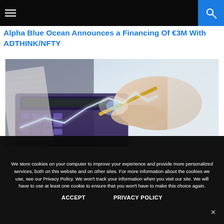☰  [search icon]
Alpha Blue Ocean Announces a Financing Of €3M With ADTHINK/NFTY
[Figure (photo): A person's hand holding a gold pen over a calculator keyboard, with a glowing upward-trending line chart overlay suggesting financial growth.]
We store cookies on your computer to improve your experience and provide more personalized services, both on this website and on other sites. For more information about the cookies we use, see our Privacy Policy. We won't track your information when you visit our site. We will have to use at least one cookie to ensure that you won't have to make this choice again.
ACCEPT      PRIVACY POLICY